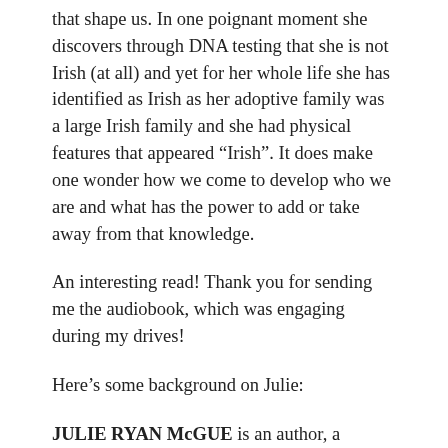that shape us. In one poignant moment she discovers through DNA testing that she is not Irish (at all) and yet for her whole life she has identified as Irish as her adoptive family was a large Irish family and she had physical features that appeared “Irish”. It does make one wonder how we come to develop who we are and what has the power to add or take away from that knowledge.
An interesting read! Thank you for sending me the audiobook, which was engaging during my drives!
Here’s some background on Julie:
JULIE RYAN McGUE is an author, a domestic adoptee and an identical twin. She writes extensively about finding out who you are, where you belong and making